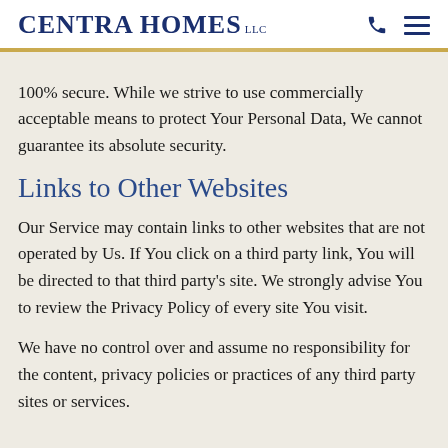Centra Homes LLC
100% secure. While we strive to use commercially acceptable means to protect Your Personal Data, We cannot guarantee its absolute security.
Links to Other Websites
Our Service may contain links to other websites that are not operated by Us. If You click on a third party link, You will be directed to that third party's site. We strongly advise You to review the Privacy Policy of every site You visit.
We have no control over and assume no responsibility for the content, privacy policies or practices of any third party sites or services.